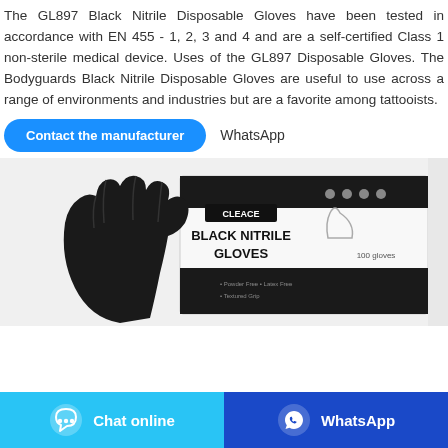The GL897 Black Nitrile Disposable Gloves have been tested in accordance with EN 455 - 1, 2, 3 and 4 and are a self-certified Class 1 non-sterile medical device. Uses of the GL897 Disposable Gloves. The Bodyguards Black Nitrile Disposable Gloves are useful to use across a range of environments and industries but are a favorite among tattooists.
Contact the manufacturer   WhatsApp
[Figure (photo): Black nitrile glove next to a CLEACE branded box labeled 'BLACK NITRILE GLOVES', 100 gloves]
Chat online   WhatsApp